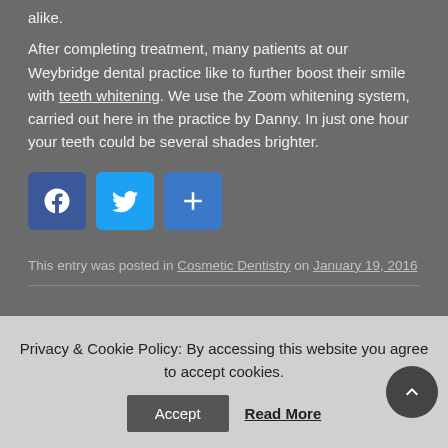alike.
After completing treatment, many patients at our Weybridge dental practice like to further boost their smile with teeth whitening. We use the Zoom whitening system, carried out here in the practice by Danny. In just one hour your teeth could be several shades brighter.
[Figure (other): Social share buttons: Facebook (blue), Twitter (blue), and a share/add button (blue)]
This entry was posted in Cosmetic Dentistry on January 19, 2016
Privacy & Cookie Policy: By accessing this website you agree to accept cookies.
Accept | Read More